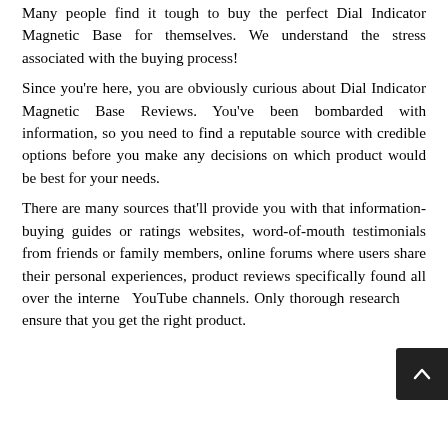Many people find it tough to buy the perfect Dial Indicator Magnetic Base for themselves. We understand the stress associated with the buying process! Since you're here, you are obviously curious about Dial Indicator Magnetic Base Reviews. You've been bombarded with information, so you need to find a reputable source with credible options before you make any decisions on which product would be best for your needs. There are many sources that'll provide you with that information- buying guides or ratings websites, word-of-mouth testimonials from friends or family members, online forums where users share their personal experiences, product reviews specifically found all over the internet, YouTube channels. Only thorough research can ensure that you get the right product.